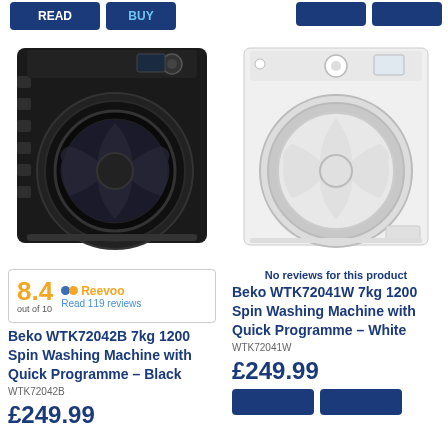[Figure (screenshot): Top navigation bar with READ and BUY buttons on the left, two small dark blue buttons on the right]
[Figure (photo): Black Beko front-loading washing machine, model WTK72042B]
[Figure (photo): White Beko front-loading washing machine, model WTK72041W]
8.4 out of 10 • Reevoo Read 119 reviews
No reviews for this product
Beko WTK72042B 7kg 1200 Spin Washing Machine with Quick Programme - Black
WTK72042B
£249.99
Beko WTK72041W 7kg 1200 Spin Washing Machine with Quick Programme - White
WTK72041W
£249.99